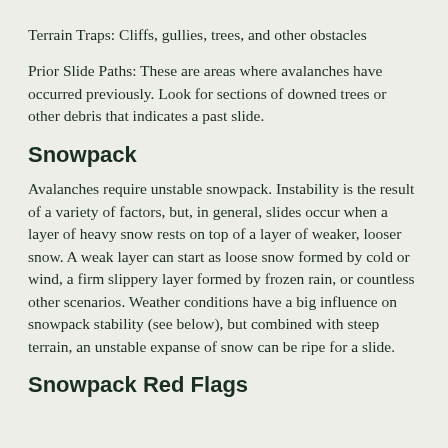Terrain Traps: Cliffs, gullies, trees, and other obstacles
Prior Slide Paths: These are areas where avalanches have occurred previously. Look for sections of downed trees or other debris that indicates a past slide.
Snowpack
Avalanches require unstable snowpack. Instability is the result of a variety of factors, but, in general, slides occur when a layer of heavy snow rests on top of a layer of weaker, looser snow. A weak layer can start as loose snow formed by cold or wind, a firm slippery layer formed by frozen rain, or countless other scenarios. Weather conditions have a big influence on snowpack stability (see below), but combined with steep terrain, an unstable expanse of snow can be ripe for a slide.
Snowpack Red Flags